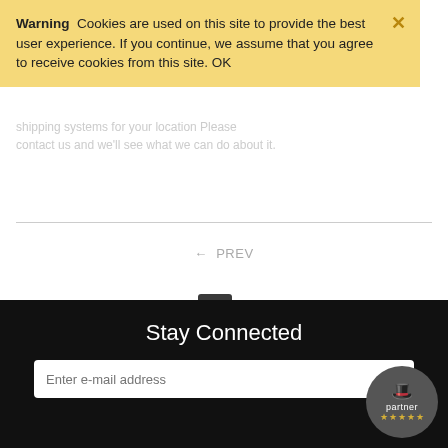Warning  Cookies are used on this site to provide the best user experience. If you continue, we assume that you agree to receive cookies from this site. OK
shipping systems for your location Please contact us and we'll see what we can do about it.
← PREV
1  2
NEXT →
Stay Connected
Enter e-mail address
[Figure (logo): Partner badge: circular dark grey badge with a top hat icon, text 'partner' and five gold stars]